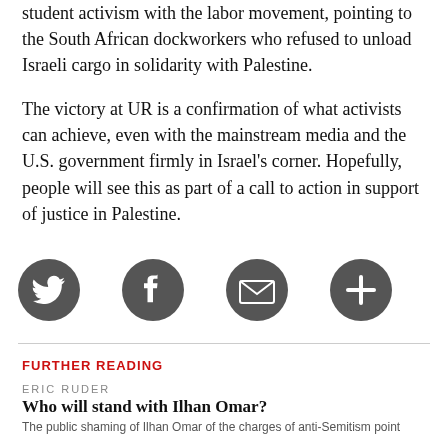student activism with the labor movement, pointing to the South African dockworkers who refused to unload Israeli cargo in solidarity with Palestine.
The victory at UR is a confirmation of what activists can achieve, even with the mainstream media and the U.S. government firmly in Israel's corner. Hopefully, people will see this as part of a call to action in support of justice in Palestine.
[Figure (infographic): Four circular social sharing icons (Twitter bird, Facebook F, email/envelope, plus/add) in dark gray on a white background]
FURTHER READING
ERIC RUDER
Who will stand with Ilhan Omar?
The public shaming of Ilhan Omar of the charges of anti-Semitism point...